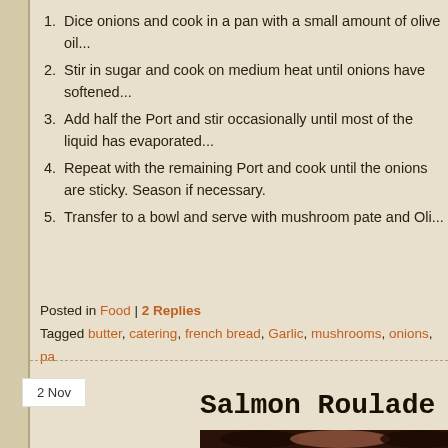1. Dice onions and cook in a pan with a small amount of olive oil...
2. Stir in sugar and cook on medium heat until onions have softened...
3. Add half the Port and stir occasionally until most of the liquid has evaporated...
4. Repeat with the remaining Port and cook until the onions are sticky. Season if necessary.
5. Transfer to a bowl and serve with mushroom pate and Oli...
Posted in Food | 2 Replies
Tagged butter, catering, french bread, Garlic, mushrooms, onions, pa...
2 Nov
Salmon Roulade
[Figure (photo): Photo of Salmon Roulade dish with berries and salmon visible]